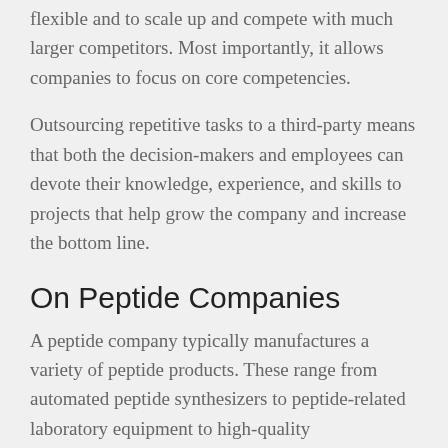flexible and to scale up and compete with much larger competitors. Most importantly, it allows companies to focus on core competencies.
Outsourcing repetitive tasks to a third-party means that both the decision-makers and employees can devote their knowledge, experience, and skills to projects that help grow the company and increase the bottom line.
On Peptide Companies
A peptide company typically manufactures a variety of peptide products. These range from automated peptide synthesizers to peptide-related laboratory equipment to high-quality reagents.